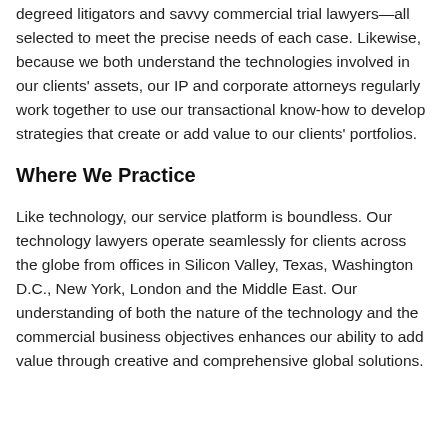degreed litigators and savvy commercial trial lawyers—all selected to meet the precise needs of each case. Likewise, because we both understand the technologies involved in our clients' assets, our IP and corporate attorneys regularly work together to use our transactional know-how to develop strategies that create or add value to our clients' portfolios.
Where We Practice
Like technology, our service platform is boundless. Our technology lawyers operate seamlessly for clients across the globe from offices in Silicon Valley, Texas, Washington D.C., New York, London and the Middle East. Our understanding of both the nature of the technology and the commercial business objectives enhances our ability to add value through creative and comprehensive global solutions.